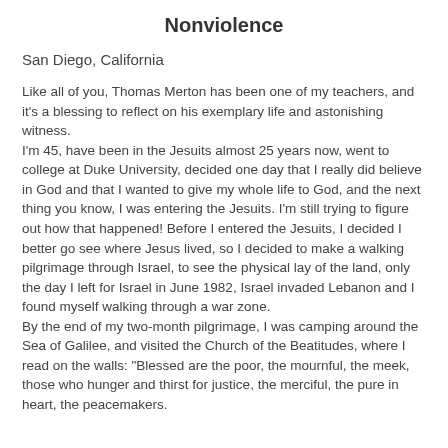Nonviolence
San Diego, California
Like all of you, Thomas Merton has been one of my teachers, and it's a blessing to reflect on his exemplary life and astonishing witness.
I'm 45, have been in the Jesuits almost 25 years now, went to college at Duke University, decided one day that I really did believe in God and that I wanted to give my whole life to God, and the next thing you know, I was entering the Jesuits. I'm still trying to figure out how that happened! Before I entered the Jesuits, I decided I better go see where Jesus lived, so I decided to make a walking pilgrimage through Israel, to see the physical lay of the land, only the day I left for Israel in June 1982, Israel invaded Lebanon and I found myself walking through a war zone.
By the end of my two-month pilgrimage, I was camping around the Sea of Galilee, and visited the Church of the Beatitudes, where I read on the walls: "Blessed are the poor, the mournful, the meek, those who hunger and thirst for justice, the merciful, the pure in heart, the peacemakers.